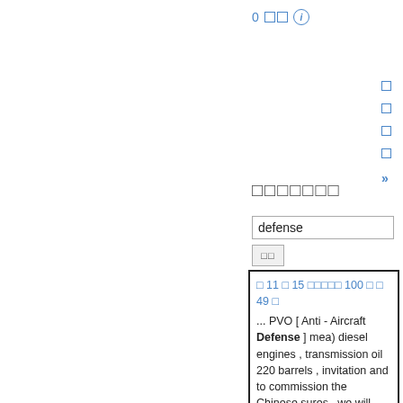0 □□ ⓘ
□
□
□
□
»
□□□□□□□
defense
□□
□ 11 □ 15 □□□□□ 100 □ □ 49 □
... PVO [ Anti - Aircraft Defense ] mea) diesel engines , transmission oil 220 barrels , invitation and to commission the Chinese sures , we will resolve them together